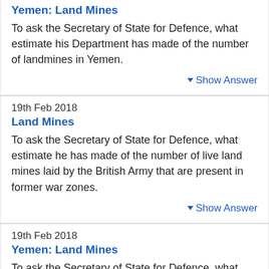Yemen: Land Mines
To ask the Secretary of State for Defence, what estimate his Department has made of the number of landmines in Yemen.
▼ Show Answer
19th Feb 2018
Land Mines
To ask the Secretary of State for Defence, what estimate he has made of the number of live land mines laid by the British Army that are present in former war zones.
▼ Show Answer
19th Feb 2018
Yemen: Land Mines
To ask the Secretary of State for Defence, what steps his Department is taking to train the security forces of the Yemini Government in landmine disarmament.